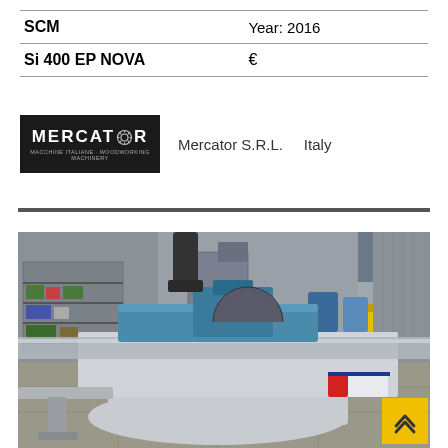| Brand | Year |
| --- | --- |
| SCM | Year: 2016 |
| Si 400 EP NOVA | € |
[Figure (logo): Mercator S.R.L. logo — dark background with gear icon in the letter O]
Mercator S.R.L.     Italy
[Figure (photo): SCM Si 400 EP NOVA sliding table panel saw machine photographed in a workshop, showing the blue and grey machine body with panel guide rail in foreground]